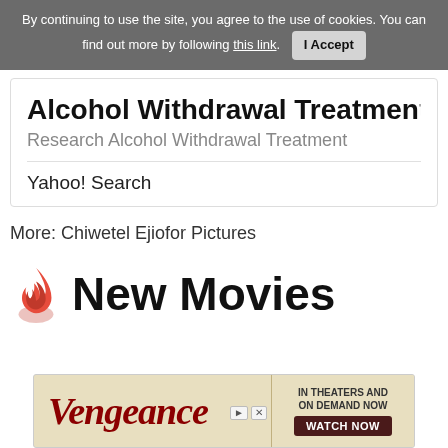By continuing to use the site, you agree to the use of cookies. You can find out more by following this link.  I Accept
Alcohol Withdrawal Treatment
Research Alcohol Withdrawal Treatment
Yahoo! Search
More: Chiwetel Ejiofor Pictures
New Movies
[Figure (screenshot): Vengeance advertisement banner: IN THEATERS AND ON DEMAND NOW, WATCH NOW button]